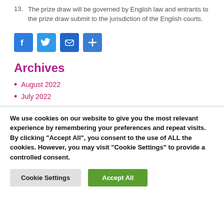13. The prize draw will be governed by English law and entrants to the prize draw submit to the jurisdiction of the English courts.
[Figure (other): Social media sharing icons: Facebook (blue), Twitter (blue), Email (blue), Share/plus (blue)]
Archives
August 2022
July 2022
We use cookies on our website to give you the most relevant experience by remembering your preferences and repeat visits. By clicking "Accept All", you consent to the use of ALL the cookies. However, you may visit "Cookie Settings" to provide a controlled consent.
Cookie Settings | Accept All